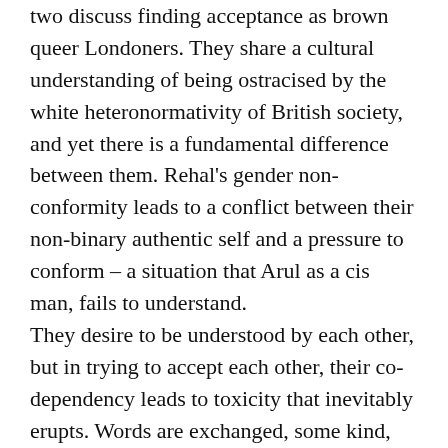two discuss finding acceptance as brown queer Londoners. They share a cultural understanding of being ostracised by the white heteronormativity of British society, and yet there is a fundamental difference between them. Rehal's gender non-conformity leads to a conflict between their non-binary authentic self and a pressure to conform – a situation that Arul as a cis man, fails to understand.
They desire to be understood by each other, but in trying to accept each other, their co-dependency leads to toxicity that inevitably erupts. Words are exchanged, some kind, some hurtful. The two realize that in order to heal and grow, they must move away from one another, but in doing so, they seek to lose the one person who might understand them. They learn that acceptance comes from within, not each other.
Selected